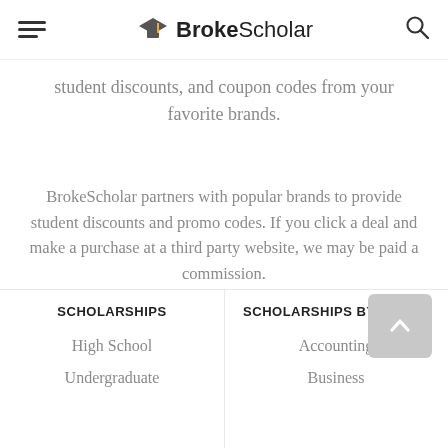BrokeScholar
student discounts, and coupon codes from your favorite brands.
BrokeScholar partners with popular brands to provide student discounts and promo codes. If you click a deal and make a purchase at a third party website, we may be paid a commission.
SCHOLARSHIPS
SCHOLARSHIPS BY MAJOR
High School
Undergraduate
Accounting
Business